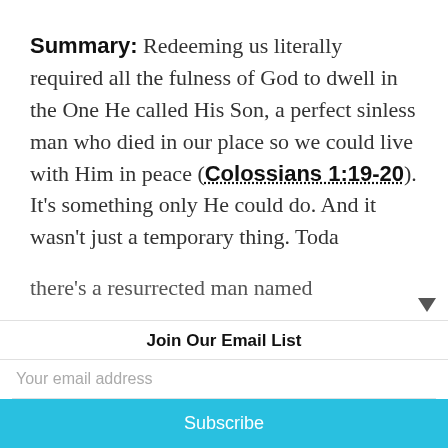Summary: Redeeming us literally required all the fulness of God to dwell in the One He called His Son, a perfect sinless man who died in our place so we could live with Him in peace (Colossians 1:19-20). It's something only He could do. And it wasn't just a temporary thing. Toda there's a resurrected man named
Join Our Email List
Your email address
Subscribe